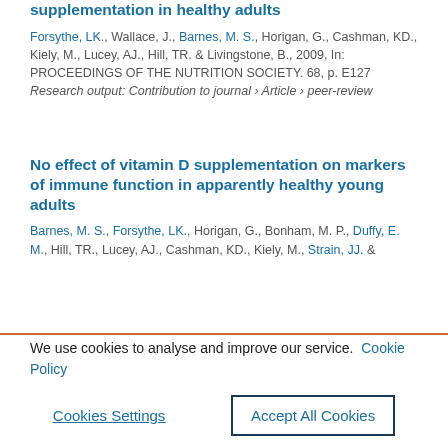supplementation in healthy adults
Forsythe, LK., Wallace, J., Barnes, M. S., Horigan, G., Cashman, KD., Kiely, M., Lucey, AJ., Hill, TR. & Livingstone, B., 2009, In: PROCEEDINGS OF THE NUTRITION SOCIETY. 68, p. E127
Research output: Contribution to journal › Article › peer-review
No effect of vitamin D supplementation on markers of immune function in apparently healthy young adults
Barnes, M. S., Forsythe, LK., Horigan, G., Bonham, M. P., Duffy, E. M., Hill, TR., Lucey, AJ., Cashman, KD., Kiely, M., Strain, JJ. &
We use cookies to analyse and improve our service. Cookie Policy
Cookies Settings
Accept All Cookies